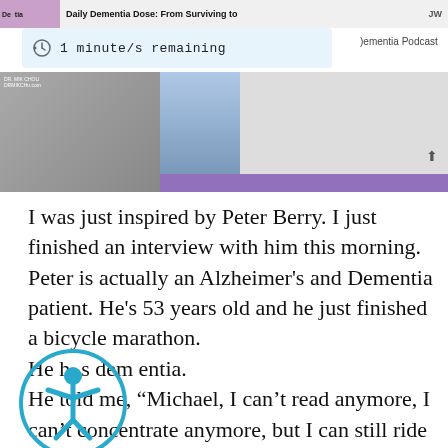[Figure (screenshot): Screenshot of a podcast player UI showing 'Daily Dementia Dose: From Surviving to' with '1 minute/s remaining' reading time bar and a podcast thumbnail image with purple bar]
I was just inspired by Peter Berry. I just finished an interview with him this morning. Peter is actually an Alzheimer's and Dementia patient. He's 53 years old and he just finished a bicycle marathon. He has dementia. He told me, “Michael, I can’t read anymore, I can’t concentrate anymore, but I can still ride a bicycle and I want to focus on my strengths.” He said during the interview that he was depressed